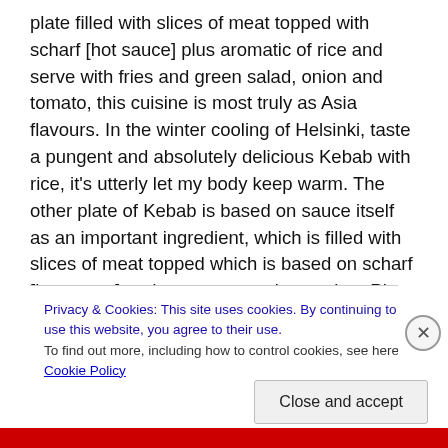plate filled with slices of meat topped with scharf [hot sauce] plus aromatic of rice and serve with fries and green salad, onion and tomato, this cuisine is most truly as Asia flavours. In the winter cooling of Helsinki, taste a pungent and absolutely delicious Kebab with rice, it's utterly let my body keep warm. The other plate of Kebab is based on sauce itself as an important ingredient, which is filled with slices of meat topped which is based on scharf [hot sauce] and sour cream mix together. Plus add local appetizing pickled cabbage and potato chips. While
Privacy & Cookies: This site uses cookies. By continuing to use this website, you agree to their use.
To find out more, including how to control cookies, see here: Cookie Policy
Close and accept